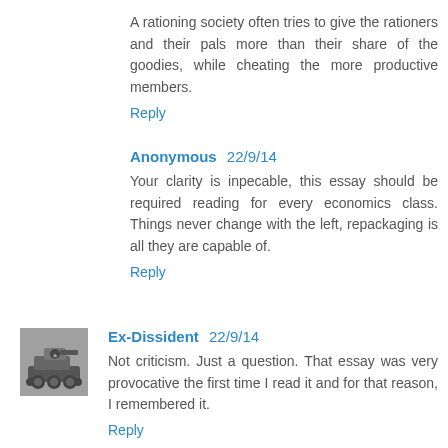A rationing society often tries to give the rationers and their pals more than their share of the goodies, while cheating the more productive members.
Reply
Anonymous 22/9/14
Your clarity is inpecable, this essay should be required reading for every economics class. Things never change with the left, repackaging is all they are capable of.
Reply
Ex-Dissident 22/9/14
Not criticism. Just a question. That essay was very provocative the first time I read it and for that reason, I remembered it.
Reply